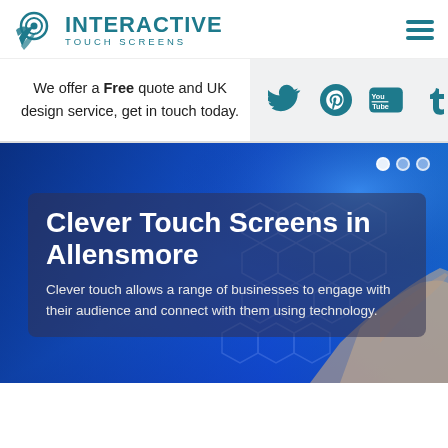[Figure (logo): Interactive Touch Screens logo with teal bird/target icon and teal text]
We offer a Free quote and UK design service, get in touch today.
[Figure (infographic): Social media icons: Twitter, Pinterest, YouTube, Tumblr in teal color on light grey background]
[Figure (photo): Hero banner showing a hand touching a glowing hexagonal touchscreen with blue digital background. Overlay card reads: Clever Touch Screens in Allensmore. Clever touch allows a range of businesses to engage with their audience and connect with them using technology.]
Clever Touch Screens in Allensmore
Clever touch allows a range of businesses to engage with their audience and connect with them using technology.